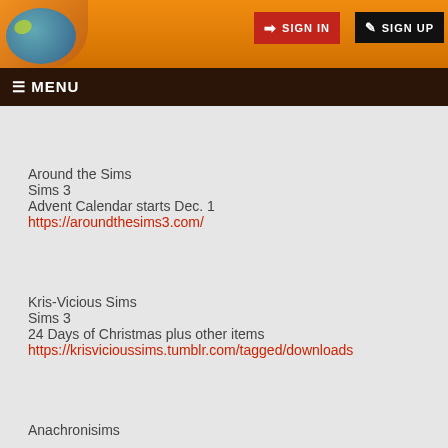SIGN IN  SIGN UP
☰ MENU
Around the Sims
Sims 3
Advent Calendar starts Dec. 1
https://aroundthesims3.com/
Kris-Vicious Sims
Sims 3
24 Days of Christmas plus other items
https://krisvicioussims.tumblr.com/tagged/downloads
Anachronisims